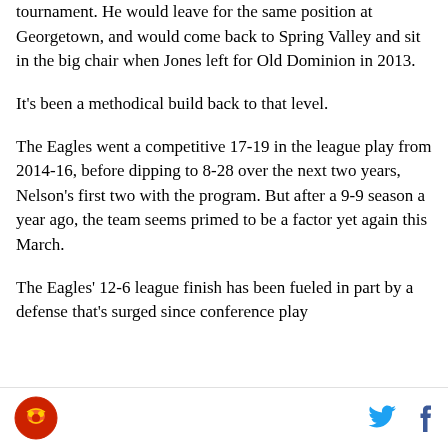tournament. He would leave for the same position at Georgetown, and would come back to Spring Valley and sit in the big chair when Jones left for Old Dominion in 2013.
It's been a methodical build back to that level.
The Eagles went a competitive 17-19 in the league play from 2014-16, before dipping to 8-28 over the next two years, Nelson's first two with the program. But after a 9-9 season a year ago, the team seems primed to be a factor yet again this March.
The Eagles' 12-6 league finish has been fueled in part by a defense that's surged since conference play
[logo] [twitter] [facebook]